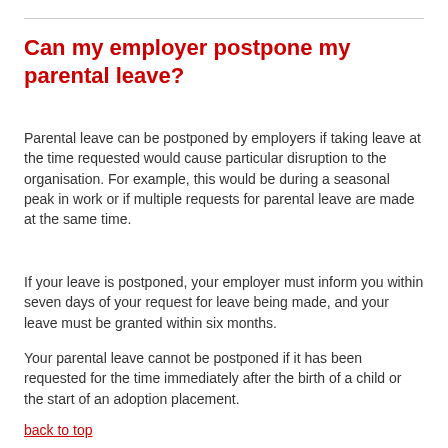Can my employer postpone my parental leave?
Parental leave can be postponed by employers if taking leave at the time requested would cause particular disruption to the organisation. For example, this would be during a seasonal peak in work or if multiple requests for parental leave are made at the same time.
If your leave is postponed, your employer must inform you within seven days of your request for leave being made, and your leave must be granted within six months.
Your parental leave cannot be postponed if it has been requested for the time immediately after the birth of a child or the start of an adoption placement.
back to top